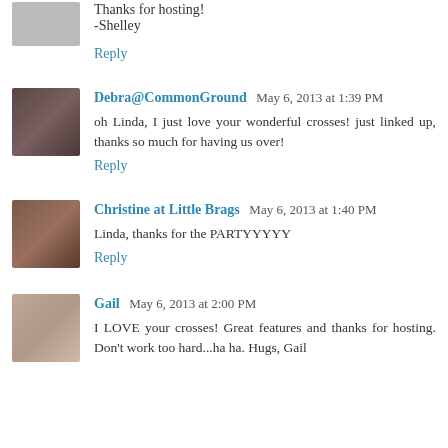Thanks for hosting!
-Shelley
Reply
Debra@CommonGround May 6, 2013 at 1:39 PM
oh Linda, I just love your wonderful crosses! just linked up, thanks so much for having us over!
Reply
Christine at Little Brags May 6, 2013 at 1:40 PM
Linda, thanks for the PARTYYYYY
Reply
Gail May 6, 2013 at 2:00 PM
I LOVE your crosses! Great features and thanks for hosting. Don't work too hard...ha ha. Hugs, Gail